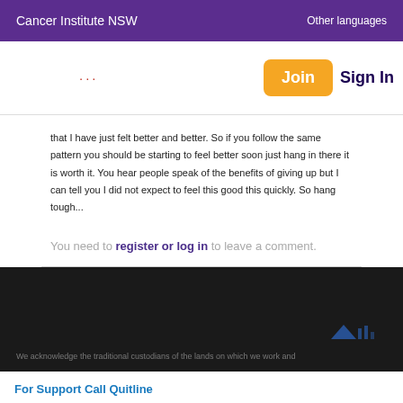Cancer Institute NSW    Other languages
...
Join  Sign In
that I have just felt better and better. So if you follow the same pattern you should be starting to feel better soon just hang in there it is worth it. You hear people speak of the benefits of giving up but I can tell you I did not expect to feel this good this quickly. So hang tough...
You need to register or log in to leave a comment.
We acknowledge the traditional custodians of the lands on which we work and
For Support Call Quitline